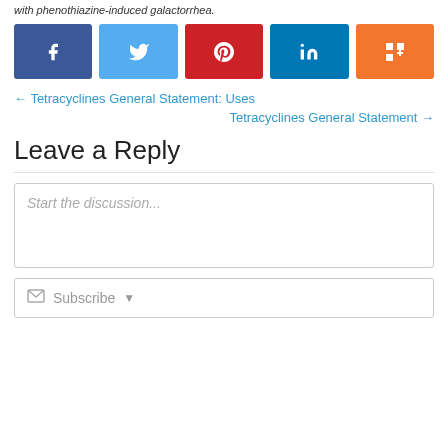with phenothiazine-induced galactorrhea.
[Figure (other): Social sharing buttons: Facebook (blue), Twitter (light blue), Pinterest (red), LinkedIn (dark blue), Mix (orange)]
← Tetracyclines General Statement: Uses
Tetracyclines General Statement →
Leave a Reply
Start the discussion...
Subscribe ▼